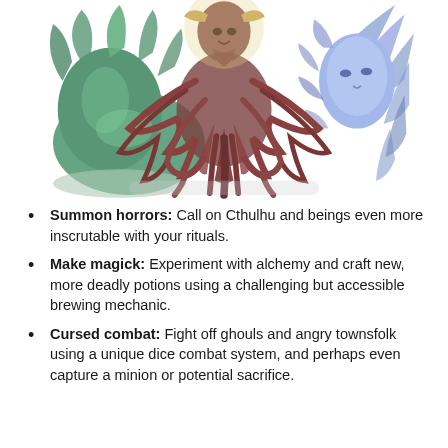[Figure (illustration): A fantasy illustration featuring three overlapping mythical beings: a green tentacled sea creature on the left, a central goat-headed entity with long writhing tentacles/roots (resembling Shub-Niggurath or similar Lovecraftian deity), and a blue ethereal face with flowing hair on the right. The central figure dominates with dark pinkish-brown tentacles spreading downward.]
Summon horrors: Call on Cthulhu and beings even more inscrutable with your rituals.
Make magick: Experiment with alchemy and craft new, more deadly potions using a challenging but accessible brewing mechanic.
Cursed combat: Fight off ghouls and angry townsfolk using a unique dice combat system, and perhaps even capture a minion or potential sacrifice.